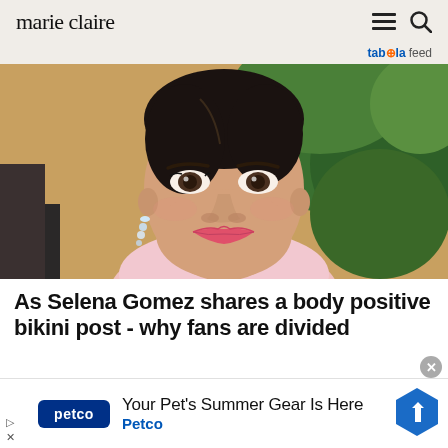marie claire
taboola feed
[Figure (photo): Close-up portrait of Selena Gomez smiling, wearing a pink turtleneck sweater and diamond drop earrings, with dark hair pulled back. Background shows green foliage and warm yellow tones.]
As Selena Gomez shares a body positive bikini post - why fans are divided
[Figure (other): Petco advertisement banner: logo on dark blue background, text 'Your Pet's Summer Gear Is Here' and 'Petco', with a blue direction arrow button on the right.]